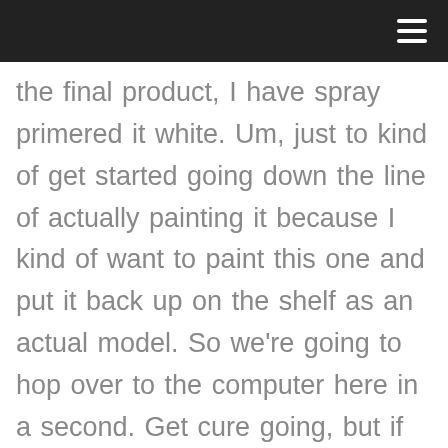the final product, I have spray primered it white. Um, just to kind of get started going down the line of actually painting it because I kind of want to paint this one and put it back up on the shelf as an actual model. So we're going to hop over to the computer here in a second. Get cure going, but if you guys enjoy the content on the channel, please hit that subscribe button. Every subscription matters every person that joins us matters. So if you hit that subscribe